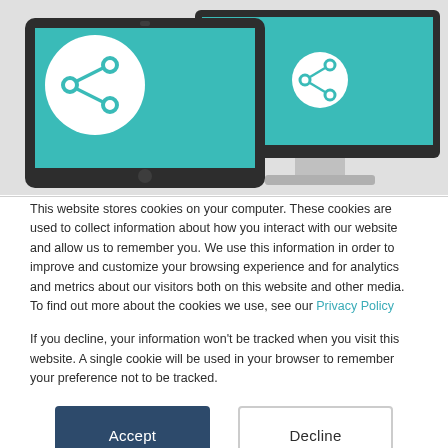[Figure (illustration): Illustration of a tablet and a desktop monitor with teal screens, each displaying a network/share icon. The tablet is in the foreground left, the monitor is behind to the right. Background is light gray.]
This website stores cookies on your computer. These cookies are used to collect information about how you interact with our website and allow us to remember you. We use this information in order to improve and customize your browsing experience and for analytics and metrics about our visitors both on this website and other media. To find out more about the cookies we use, see our Privacy Policy
If you decline, your information won't be tracked when you visit this website. A single cookie will be used in your browser to remember your preference not to be tracked.
Accept
Decline